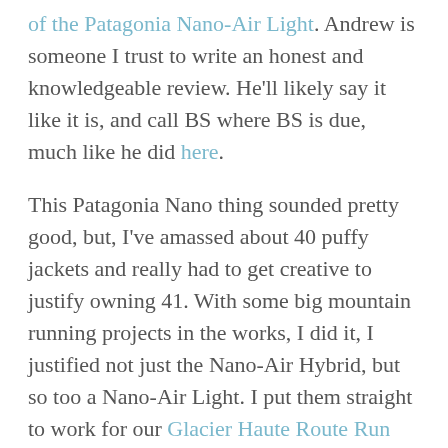of the Patagonia Nano-Air Light. Andrew is someone I trust to write an honest and knowledgeable review. He'll likely say it like it is, and call BS where BS is due, much like he did here.
This Patagonia Nano thing sounded pretty good, but, I've amassed about 40 puffy jackets and really had to get creative to justify owning 41. With some big mountain running projects in the works, I did it, I justified not just the Nano-Air Hybrid, but so too a Nano-Air Light. I put them straight to work for our Glacier Haute Route Run and then all fall and winter for both cold weather trail running and ski touring.